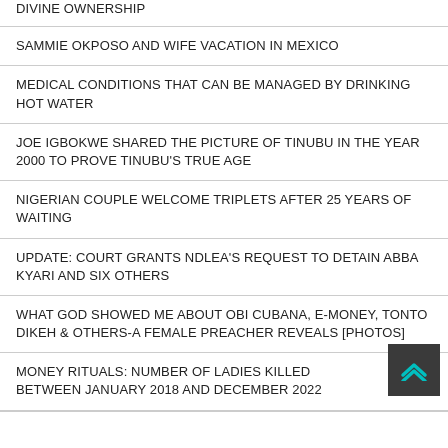DIVINE OWNERSHIP
SAMMIE OKPOSO AND WIFE VACATION IN MEXICO
MEDICAL CONDITIONS THAT CAN BE MANAGED BY DRINKING HOT WATER
JOE IGBOKWE SHARED THE PICTURE OF TINUBU IN THE YEAR 2000 TO PROVE TINUBU'S TRUE AGE
NIGERIAN COUPLE WELCOME TRIPLETS AFTER 25 YEARS OF WAITING
UPDATE: COURT GRANTS NDLEA'S REQUEST TO DETAIN ABBA KYARI AND SIX OTHERS
WHAT GOD SHOWED ME ABOUT OBI CUBANA, E-MONEY, TONTO DIKEH & OTHERS-A FEMALE PREACHER REVEALS [PHOTOS]
MONEY RITUALS: NUMBER OF LADIES KILLED BETWEEN JANUARY 2018 AND DECEMBER 2022